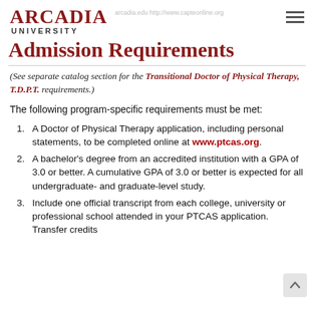arcadia.edu http://www.capteonline.org
[Figure (logo): Arcadia University logo with hamburger menu icon]
Admission Requirements
(See separate catalog section for the Transitional Doctor of Physical Therapy, T.D.P.T. requirements.)
The following program-specific requirements must be met:
A Doctor of Physical Therapy application, including personal statements, to be completed online at www.ptcas.org.
A bachelor's degree from an accredited institution with a GPA of 3.0 or better. A cumulative GPA of 3.0 or better is expected for all undergraduate- and graduate-level study.
Include one official transcript from each college, university or professional school attended in your PTCAS application. Transfer credits